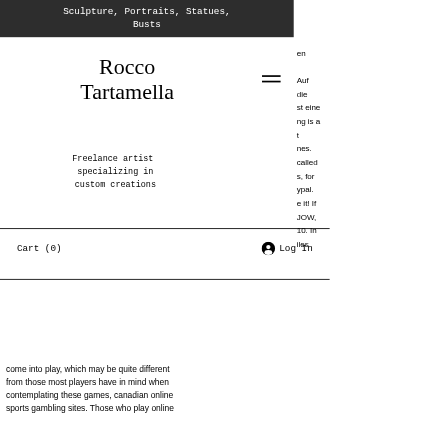Sculpture, Portraits, Statues, Busts
Rocco Tartamella
Freelance artist specializing in custom creations
Cart (0)   Log In
en Auf die st eine ng is a t nes. called s, for ypal. e it! If JOW, 10. In iles
come into play, which may be quite different from those most players have in mind when contemplating these games, canadian online sports gambling sites. Those who play online